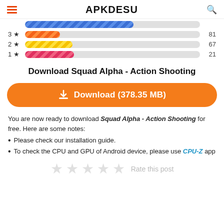APKDESU
[Figure (bar-chart): Rating distribution]
Download Squad Alpha - Action Shooting
Download (378.35 MB)
You are now ready to download Squad Alpha - Action Shooting for free. Here are some notes:
Please check our installation guide.
To check the CPU and GPU of Android device, please use CPU-Z app
Rate this post